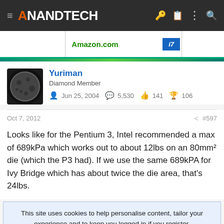AnandTech
[Figure (screenshot): Amazon.com advertisement banner with Intel i7 logo]
Yuriman
Diamond Member
Jun 25, 2004  5,530  141  106
Oct 7, 2012  #597
Looks like for the Pentium 3, Intel recommended a max of 689kPa which works out to about 12lbs on an 80mm² die (which the P3 had). If we use the same 689kPA for Ivy Bridge which has about twice the die area, that's 24lbs.
This site uses cookies to help personalise content, tailor your experience and to keep you logged in if you register.
By continuing to use this site, you are consenting to our use of cookies.